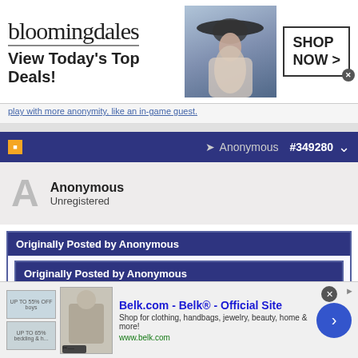[Figure (screenshot): Bloomingdales advertisement banner: logo, 'View Today's Top Deals!', woman with hat, SHOP NOW > button]
play with more anonymity, like an in-game guest.
Anonymous  #349280
Anonymous
Unregistered
Originally Posted by Anonymous
Originally Posted by Anonymous
Originally Posted by Anonymous
My 12 yr old is only accepting offers from Cuse and Duke. But first, he has to do 3
[Figure (screenshot): Belk.com advertisement banner at bottom of page]